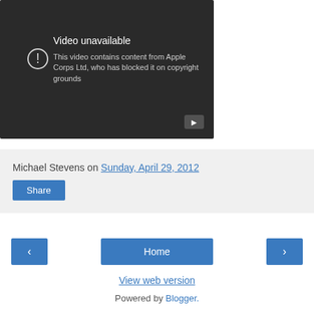[Figure (screenshot): YouTube video unavailable screenshot with dark background showing 'Video unavailable' message and 'This video contains content from Apple Corps Ltd, who has blocked it on copyright grounds' text, with a YouTube play button icon in the bottom right corner]
Michael Stevens on Sunday, April 29, 2012
Share
Home
View web version
Powered by Blogger.